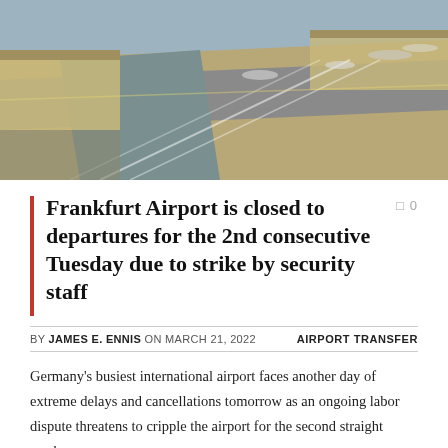[Figure (photo): Aerial view of Frankfurt Airport tarmac showing runways, taxiways, terminal buildings and aircraft from above]
Frankfurt Airport is closed to departures for the 2nd consecutive Tuesday due to strike by security staff
BY JAMES E. ENNIS ON MARCH 21, 2022   AIRPORT TRANSFER
Germany's busiest international airport faces another day of extreme delays and cancellations tomorrow as an ongoing labor dispute threatens to cripple the airport for the second straight week.